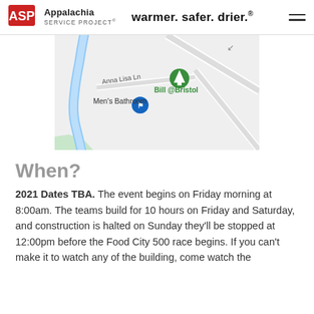ASP Appalachia Service Project — warmer. safer. drier.®
[Figure (map): Google Maps screenshot showing area near Bristol with labels: Anna Lisa Ln, Bill @Bristol (green pin with tree icon), Men's Bathroom (blue pin with utensils icon). Blue river/creek visible on left side. Roads and gray background typical of Google Maps.]
When?
2021 Dates TBA. The event begins on Friday morning at 8:00am. The teams build for 10 hours on Friday and Saturday, and construction is halted on Sunday they'll be stopped at 12:00pm before the Food City 500 race begins. If you can't make it to watch any of the building, come watch the